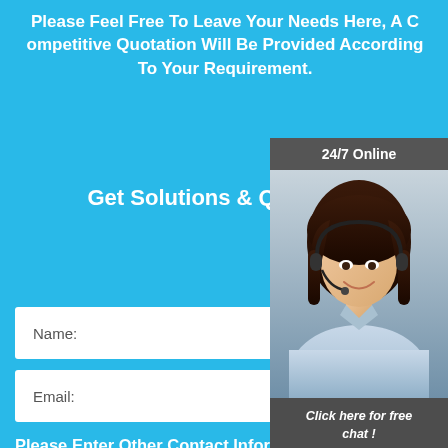Please Feel Free To Leave Your Needs Here, A Competitive Quotation Will Be Provided According To Your Requirement.
Get Solutions & Quotation
[Figure (photo): Customer service representative woman wearing a headset, smiling. Sidebar panel with '24/7 Online' header, 'Click here for free chat!' text, and orange 'QUOTATION' button.]
Name:
Email:
Please Enter Other Contact Information
[Figure (logo): TOP logo - orange triangle dots with 'TOP' text in orange]
Whatsapp
Wechat
Skype
Viber
Contact information Whatsapp